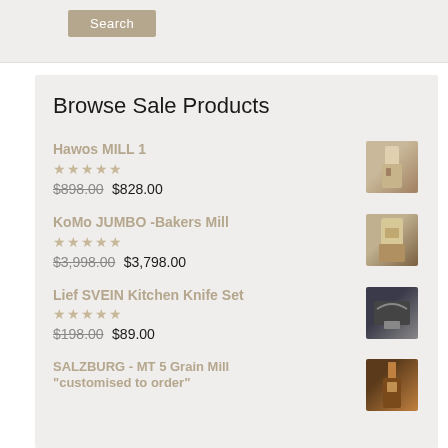[Figure (screenshot): Search button in top navigation bar]
Browse Sale Products
Hawos MILL 1 — $898.00 $828.00
KoMo JUMBO -Bakers Mill — $3,998.00 $3,798.00
Lief SVEIN Kitchen Knife Set — $198.00 $89.00
SALZBURG - MT 5 Grain Mill "customised to order"